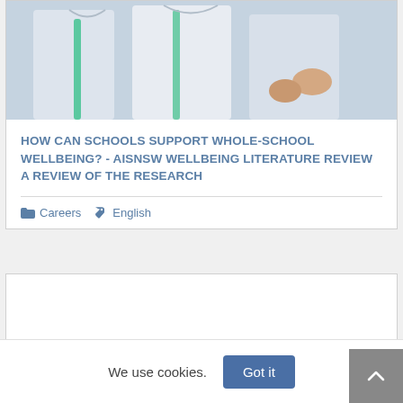[Figure (photo): Photo of school students in white uniforms, cropped to show torsos and bags]
HOW CAN SCHOOLS SUPPORT WHOLE-SCHOOL WELLBEING? - AISNSW WELLBEING LITERATURE REVIEW A REVIEW OF THE RESEARCH
Careers  English
[Figure (other): Empty white card area below the first card]